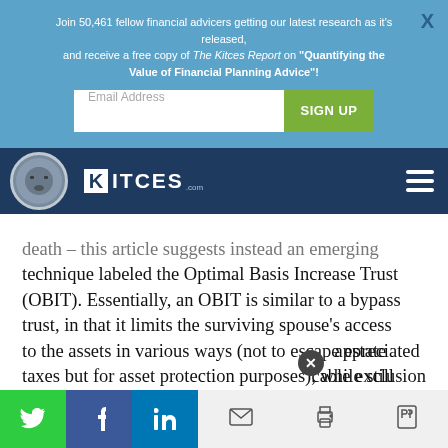Join 50,461 fellow financial advicers getting our latest research as it's released, and receive a free copy of The Kitces Report on "Quantifying the Value of Financial Planning Advice"!
[Figure (screenshot): Email address input field with SIGN UP button on blue background]
[Figure (logo): Kitces.com logo with avatar on dark navy navigation bar]
death – this article suggests instead an emerging technique labeled the Optimal Basis Increase Trust (OBIT). Essentially, an OBIT is similar to a bypass trust, in that it limits the surviving spouse's access to the assets in various ways (not to escape estate taxes but for asset protection purposes), while still giving the surviving spouse a general power to appreciated cable exclusion
[Figure (infographic): Social sharing bar with Twitter, Facebook, LinkedIn, email, print, and PDF icons]